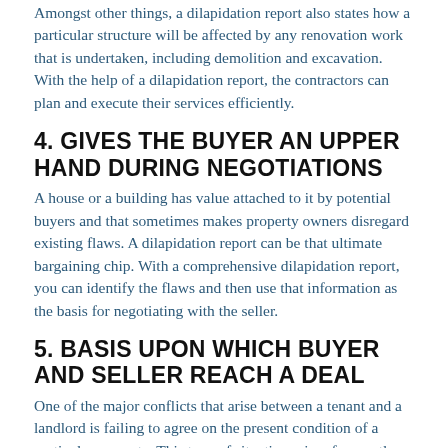Amongst other things, a dilapidation report also states how a particular structure will be affected by any renovation work that is undertaken, including demolition and excavation. With the help of a dilapidation report, the contractors can plan and execute their services efficiently.
4. GIVES THE BUYER AN UPPER HAND DURING NEGOTIATIONS
A house or a building has value attached to it by potential buyers and that sometimes makes property owners disregard existing flaws. A dilapidation report can be that ultimate bargaining chip. With a comprehensive dilapidation report, you can identify the flaws and then use that information as the basis for negotiating with the seller.
5. BASIS UPON WHICH BUYER AND SELLER REACH A DEAL
One of the major conflicts that arise between a tenant and a landlord is failing to agree on the present condition of a particular property. This type of situation arises frequently when the tenants are moving in or out. The repairs that are required before and the compensation that is demanded can cause a